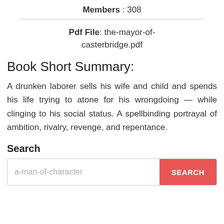Members : 308
Pdf File: the-mayor-of-casterbridge.pdf
Book Short Summary:
A drunken laborer sells his wife and child and spends his life trying to atone for his wrongdoing — while clinging to his social status. A spellbinding portrayal of ambition, rivalry, revenge, and repentance.
Search
a-man-of-character